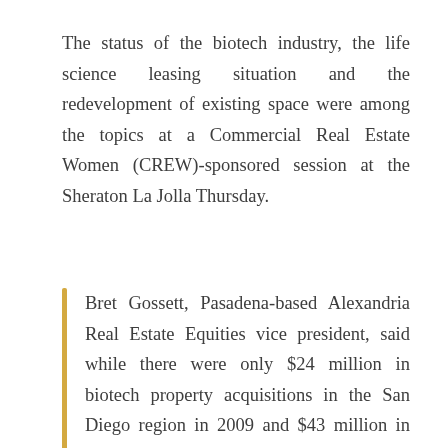The status of the biotech industry, the life science leasing situation and the redevelopment of existing space were among the topics at a Commercial Real Estate Women (CREW)-sponsored session at the Sheraton La Jolla Thursday.
Bret Gossett, Pasadena-based Alexandria Real Estate Equities vice president, said while there were only $24 million in biotech property acquisitions in the San Diego region in 2009 and $43 million in 2008, investors (primarily REITs) had enough confidence in the biotech buildings